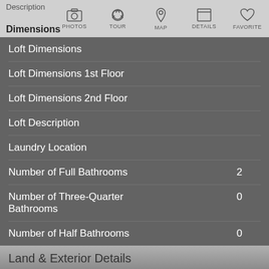Description
Dimensions
Loft Dimensions
Loft Dimensions 1st Floor
Loft Dimensions 2nd Floor
Loft Description
Laundry Location
Number of Full Bathrooms    2
Number of Three-Quarter Bathrooms    0
Number of Half Bathrooms    0
Land & Exterior Details
Lot Square Footage
Lot Description    Under 1/4 Acre